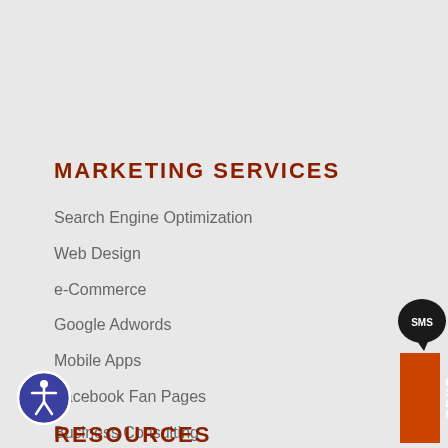MARKETING SERVICES
Search Engine Optimization
Web Design
e-Commerce
Google Adwords
Mobile Apps
Facebook Fan Pages
Business Consulting
[Figure (infographic): SMS text widget on right side: dark speech bubble with SMS label and orange TEXT vertical banner]
[Figure (illustration): Accessibility icon: blue circle with white human figure in universal accessibility pose]
RESOURCES